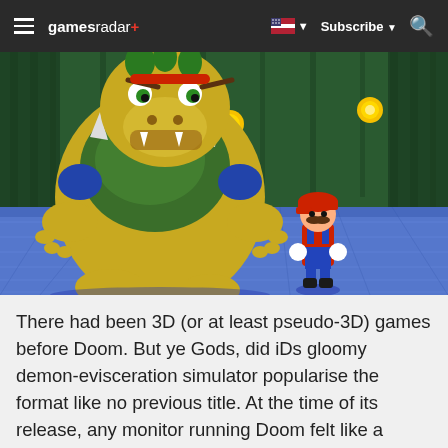gamesradar+  Subscribe
[Figure (screenshot): Super Mario 64 screenshot showing Bowser (large yellow-green dragon-turtle with spikes and blue shell) facing small Mario on a blue tiled floor with green curtains in the background and golden coins floating in the air.]
There had been 3D (or at least pseudo-3D) games before Doom. But ye Gods, did iDs gloomy demon-evisceration simulator popularise the format like no previous title. At the time of its release, any monitor running Doom felt like a portal to an inconceivable